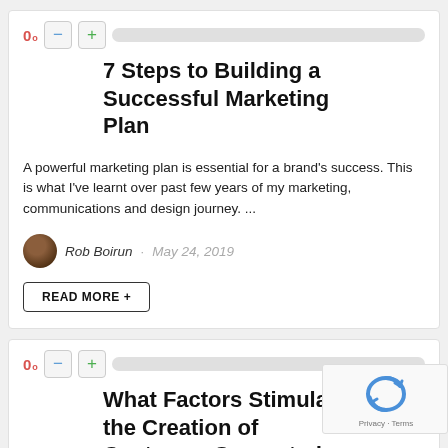[Figure (screenshot): Vote widget with 0 score, minus button, plus button, and grey progress bar]
7 Steps to Building a Successful Marketing Plan
A powerful marketing plan is essential for a brand's success. This is what I've learnt over past few years of my marketing, communications and design journey. ...
Rob Boirun · May 24, 2019
READ MORE +
[Figure (screenshot): Vote widget with 0 score, minus button, plus button, and grey progress bar]
What Factors Stimulate the Creation of Customer-Generated
[Figure (other): reCAPTCHA widget with Privacy · Terms]